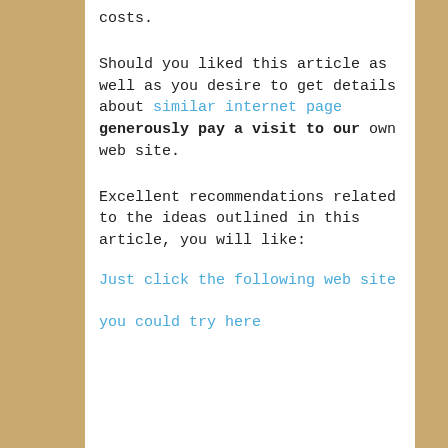costs.
Should you liked this article as well as you desire to get details about similar internet page generously pay a visit to our own web site.
Excellent recommendations related to the ideas outlined in this article, you will like:
Just click the following web site
you could try here